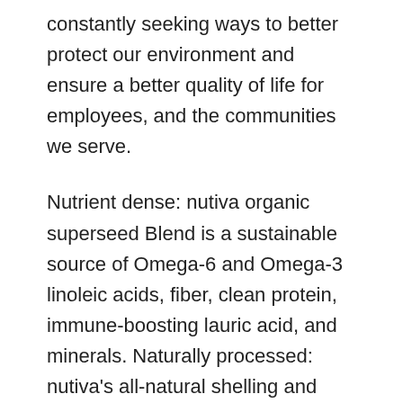constantly seeking ways to better protect our environment and ensure a better quality of life for employees, and the communities we serve.
Nutrient dense: nutiva organic superseed Blend is a sustainable source of Omega-6 and Omega-3 linoleic acids, fiber, clean protein, immune-boosting lauric acid, and minerals. Naturally processed: nutiva's all-natural shelling and blending process yields a clean, plant-based nutty flavored seed blend that's easy to incorporate in everyday eating.
Premium diet compatibility: Nutiva Superseed Blend is just right for vegetarian, vegan, and gluten-free diets. Nutrient dense: nutiva organic, cold-processed hemp protein is a sustainable source of amino acids, protein,